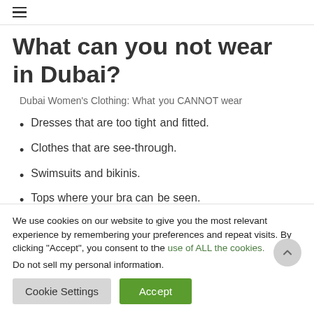≡
What can you not wear in Dubai?
Dubai Women's Clothing: What you CANNOT wear
Dresses that are too tight and fitted.
Clothes that are see-through.
Swimsuits and bikinis.
Tops where your bra can be seen.
Any clothes that reveal too much cleavage.
We use cookies on our website to give you the most relevant experience by remembering your preferences and repeat visits. By clicking "Accept", you consent to the use of ALL the cookies.
Do not sell my personal information.